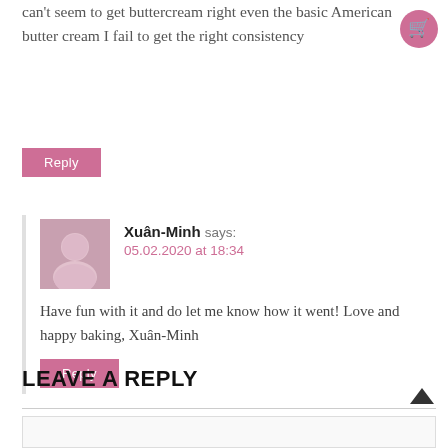can't seem to get buttercream right even the basic American butter cream I fail to get the right consistency
[Figure (illustration): Pink circle with white shopping cart icon in top right corner]
Reply
[Figure (photo): Avatar photo of Xuân-Minh, a woman in white clothing]
Xuân-Minh says:
05.02.2020 at 18:34
Have fun with it and do let me know how it went! Love and happy baking, Xuân-Minh
Reply
LEAVE A REPLY